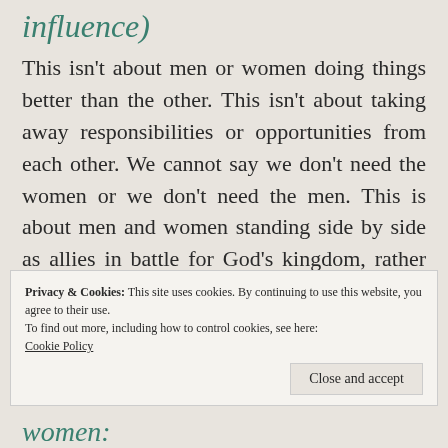influence)
This isn’t about men or women doing things better than the other. This isn’t about taking away responsibilities or opportunities from each other. We cannot say we don’t need the women or we don’t need the men. This is about men and women standing side by side as allies in battle for God’s kingdom, rather than facing each other, battling each other. This is the blessed alliance.
Privacy & Cookies: This site uses cookies. By continuing to use this website, you agree to their use.
To find out more, including how to control cookies, see here: Cookie Policy
women: